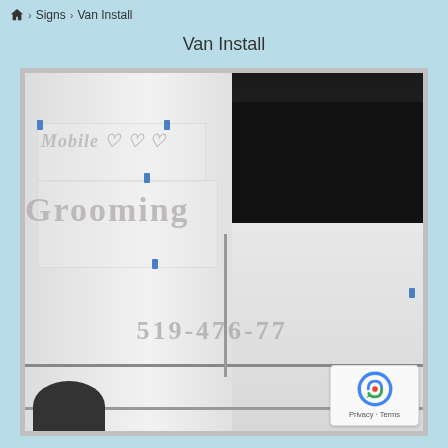Home > Signs > Van Install
Van Install
[Figure (photo): A white van with signs being installed using blue tape. The signs read 'Mobile' with heart symbols and 'Grooming' in large text, and a partial phone number '519-476-77...' is visible on the side of the van.]
Privacy · Terms